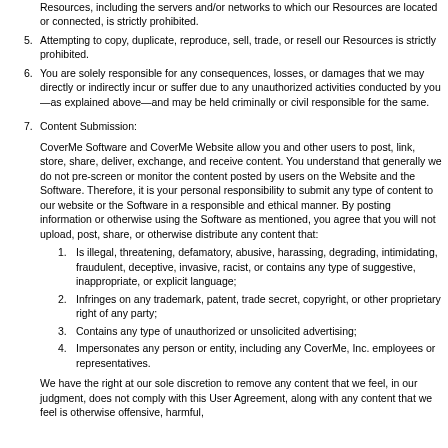Resources, including the servers and/or networks to which our Resources are located or connected, is strictly prohibited.
5. Attempting to copy, duplicate, reproduce, sell, trade, or resell our Resources is strictly prohibited.
6. You are solely responsible for any consequences, losses, or damages that we may directly or indirectly incur or suffer due to any unauthorized activities conducted by you—as explained above—and may be held criminally or civil responsible for the same.
7. Content Submission:
CoverMe Software and CoverMe Website allow you and other users to post, link, store, share, deliver, exchange, and receive content. You understand that generally we do not pre-screen or monitor the content posted by users on the Website and the Software. Therefore, it is your personal responsibility to submit any type of content to our website or the Software in a responsible and ethical manner. By posting information or otherwise using the Software as mentioned, you agree that you will not upload, post, share, or otherwise distribute any content that:
1. Is illegal, threatening, defamatory, abusive, harassing, degrading, intimidating, fraudulent, deceptive, invasive, racist, or contains any type of suggestive, inappropriate, or explicit language;
2. Infringes on any trademark, patent, trade secret, copyright, or other proprietary right of any party;
3. Contains any type of unauthorized or unsolicited advertising;
4. Impersonates any person or entity, including any CoverMe, Inc. employees or representatives.
We have the right at our sole discretion to remove any content that we feel, in our judgment, does not comply with this User Agreement, along with any content that we feel is otherwise offensive, harmful,